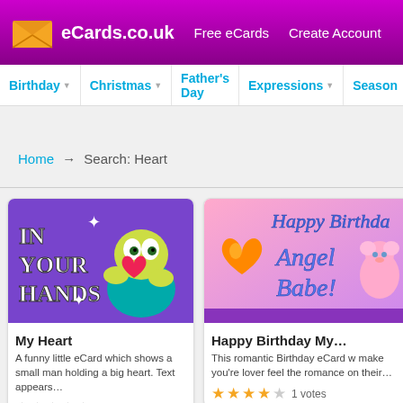eCards.co.uk | Free eCards | Create Account
Birthday | Christmas | Father's Day | Expressions | Season
Home → Search: Heart
[Figure (illustration): eCard thumbnail: cartoon small man holding a big heart, text 'IN YOUR HANDS' on purple background]
My Heart
A funny little eCard which shows a small man holding a big heart. Text appears…
votes
[Figure (illustration): eCard thumbnail: Happy Birthday Angel Babe! with orange heart and pink bear on pink/purple background]
Happy Birthday My…
This romantic Birthday eCard w make you're lover feel the romance on their…
1 votes